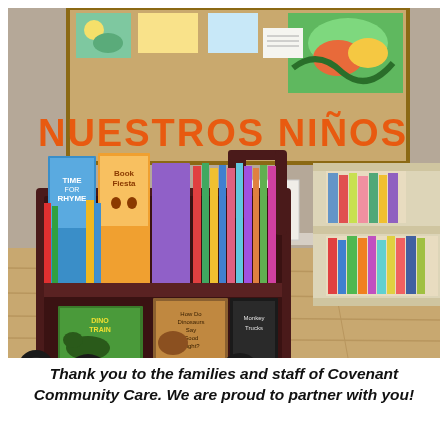[Figure (photo): A mobile book cart with two shelves full of colorful children's books sits in the foreground on a wood floor. Behind it is a bulletin board labeled 'NUESTROS NINOS' in large orange letters on a tan background, with children's artwork pinned above. To the right is a light wood bookshelf also filled with children's books. A small sign is on the wall near the cart.]
Thank you to the families and staff of Covenant Community Care. We are proud to partner with you!